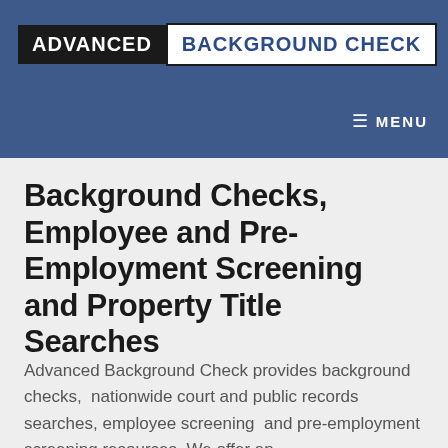[Figure (logo): Advanced Background Check logo with black left panel and white right panel with blue text]
≡ MENU
Background Checks, Employee and Pre-Employment Screening and Property Title Searches
Advanced Background Check provides background checks,  nationwide court and public records searches, employee screening  and pre-employment screening resources. We offer an